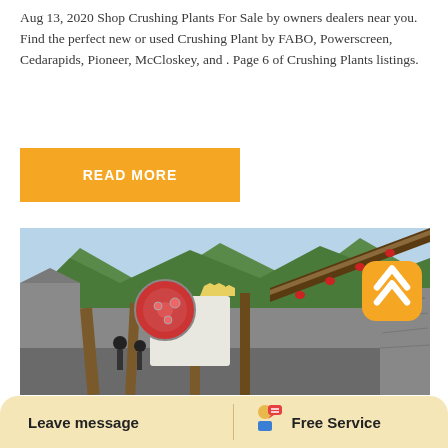Aug 13, 2020 Shop Crushing Plants For Sale by owners dealers near you. Find the perfect new or used Crushing Plant by FABO, Powerscreen, Cedarapids, Pioneer, McCloskey, and . Page 6 of Crushing Plants listings.
READ MORE
[Figure (photo): Photograph of a crushing plant with jaw crusher machinery set against rocky mountainous terrain with green hills in the background.]
Leave message
Free Service